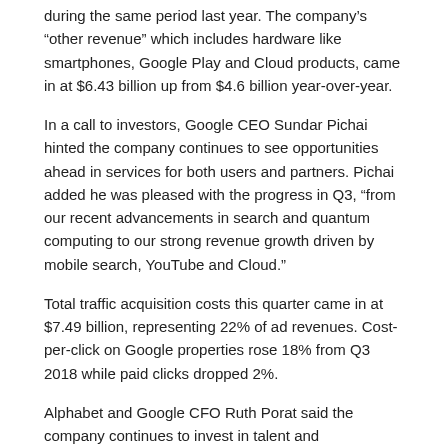during the same period last year. The company's "other revenue" which includes hardware like smartphones, Google Play and Cloud products, came in at $6.43 billion up from $4.6 billion year-over-year.
In a call to investors, Google CEO Sundar Pichai hinted the company continues to see opportunities ahead in services for both users and partners. Pichai added he was pleased with the progress in Q3, “from our recent advancements in search and quantum computing to our strong revenue growth driven by mobile search, YouTube and Cloud.”
Total traffic acquisition costs this quarter came in at $7.49 billion, representing 22% of ad revenues. Cost-per-click on Google properties rose 18% from Q3 2018 while paid clicks dropped 2%.
Alphabet and Google CFO Ruth Porat said the company continues to invest in talent and infrastructure to support growth, particularly in areas like Google Cloud and machine learning.
Share this:  Facebook
TAGS: